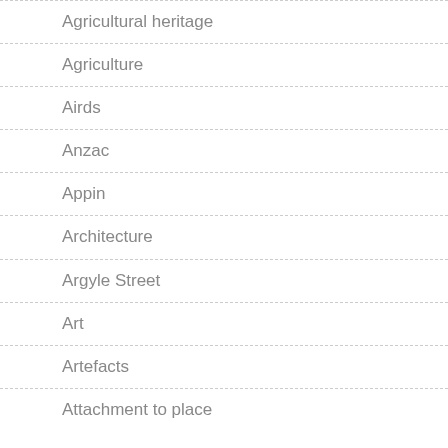Agricultural heritage
Agriculture
Airds
Anzac
Appin
Architecture
Argyle Street
Art
Artefacts
Attachment to place